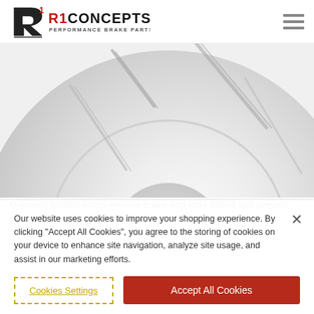[Figure (logo): R1 Concepts Performance Brake Parts logo with stylized brake disc icon]
[Figure (photo): Close-up photo of a diamond slotted brake rotor showing diagonal cut slots on a silver/grey disc]
Diamond Slotted rotors remove brake and road debris and prevent pad glazing, extending the life of the pad and the rotor.
Our website uses cookies to improve your shopping experience. By clicking "Accept All Cookies", you agree to the storing of cookies on your device to enhance site navigation, analyze site usage, and assist in our marketing efforts.
Cookies Settings | Accept All Cookies